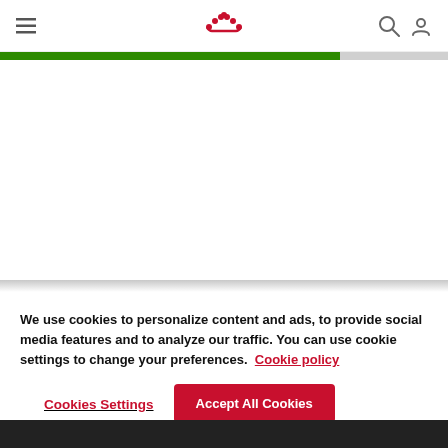[Figure (logo): Royal Canin crown logo in red at the top center of the navigation bar]
[Figure (infographic): A horizontal progress bar showing approximately 76% green fill and 24% grey remaining]
We use cookies to personalize content and ads, to provide social media features and to analyze our traffic. You can use cookie settings to change your preferences. Cookie policy
Cookies Settings
Accept All Cookies